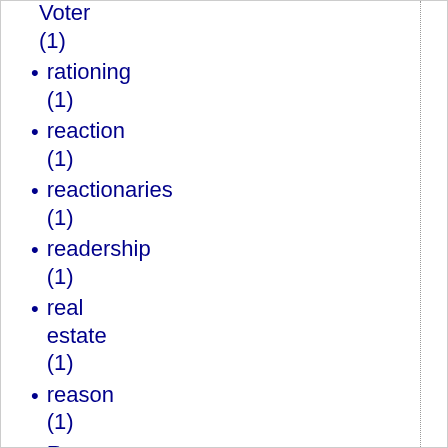Voter (1)
rationing (1)
reaction (1)
reactionaries (1)
readership (1)
real estate (1)
reason (1)
Reasons (1)
Reconquista (1)
Red-shouldered hawk (1)
Redstate (2)